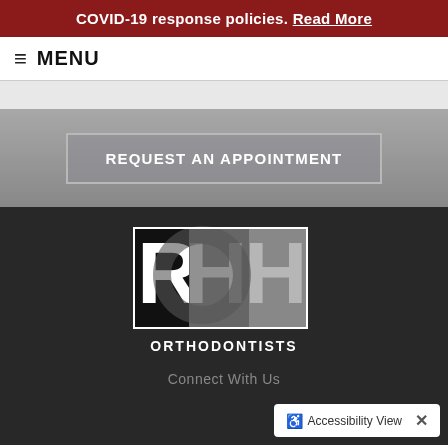COVID-19 response policies. Read More
≡ MENU
REQUEST AN APPOINTMENT
[Figure (logo): RHH Orthodontists logo — large stylized letters R, H, H in black and gray with a circular D element, and the word ORTHODONTISTS below]
Connect With Us
♿ Accessibility View ✕